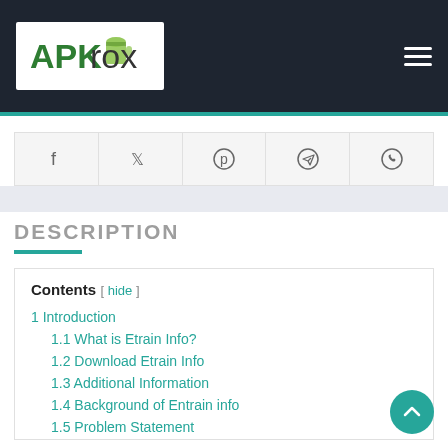APKrox
[Figure (screenshot): Social sharing buttons: Facebook, Twitter, Pinterest, Telegram, WhatsApp]
DESCRIPTION
Contents [ hide ]
1 Introduction
1.1 What is Etrain Info?
1.2 Download Etrain Info
1.3 Additional Information
1.4 Background of Entrain info
1.5 Problem Statement